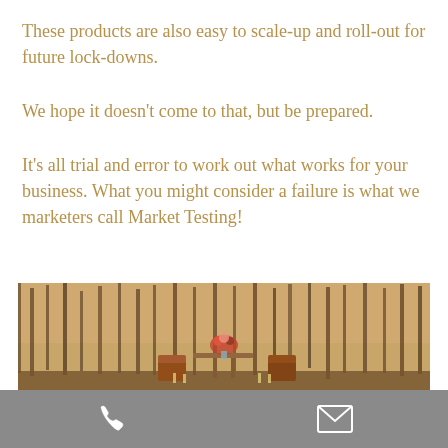These products are also easy to scale-up and roll-out for future lock-downs.
We hope it doesn't come to that, but be prepared.
It's all trial and error to work out what works for your business. What you might consider a failure is what we marketers call Market Testing!
[Figure (photo): Outdoor woodland scene with chairs, a floral arrangement on a table, and trees in the background. Gray toolbar with phone and email icons at the bottom.]